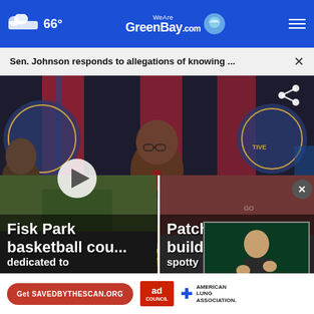66° WeAreGreenBay.com
Sen. Johnson responds to allegations of knowing ...
[Figure (screenshot): Video still of congressional hearing with Mr. Thompson, Chairman seated at dais with American flags and House seal in background. Play button overlay and ASL interpreter thumbnail visible.]
Fisk Park basketball cou... dedicated to
Patchy fo... building... spotty
Get SAVEDBYTHESCAN.ORG — American Lung Association ad council advertisement